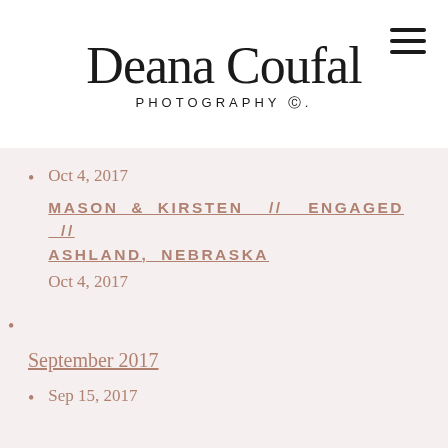[Figure (logo): Deana Coufal Photography logo with script text and PHOTOGRAPHY Co. subtitle]
Oct 4, 2017
MASON & KIRSTEN // ENGAGED // ASHLAND, NEBRASKA
Oct 4, 2017
September 2017
Sep 15, 2017